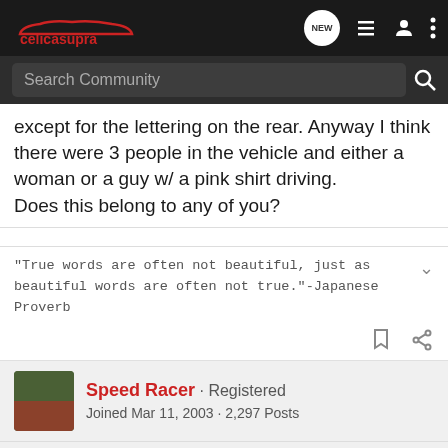celicasupra — Search Community navigation bar
except for the lettering on the rear. Anyway I think there were 3 people in the vehicle and either a woman or a guy w/ a pink shirt driving.
Does this belong to any of you?
"True words are often not beautiful, just as beautiful words are often not true."-Japanese Proverb
Speed Racer · Registered
Joined Mar 11, 2003 · 2,297 Posts
#2 · Aug 3, 2003